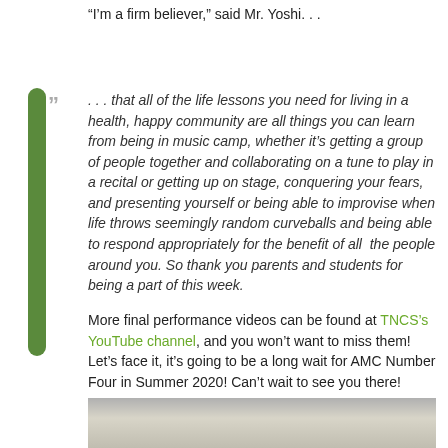“I’m a firm believer,” said Mr. Yoshi. . .
. . . that all of the life lessons you need for living in a health, happy community are all things you can learn from being in music camp, whether it’s getting a group of people together and collaborating on a tune to play in a recital or getting up on stage, conquering your fears, and presenting yourself or being able to improvise when life throws seemingly random curveballs and being able to respond appropriately for the benefit of all  the people around you. So thank you parents and students for being a part of this week.
More final performance videos can be found at TNCS’s YouTube channel, and you won’t want to miss them! Let’s face it, it’s going to be a long wait for AMC Number Four in Summer 2020! Can’t wait to see you there!
[Figure (photo): Partial view of a photo showing what appears to be an interior ceiling or architectural detail, cropped at bottom of page.]